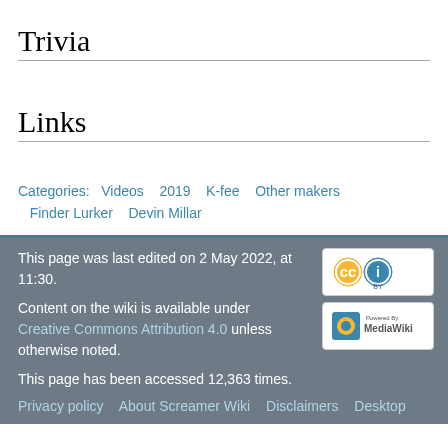Trivia
Links
Categories:  Videos  2019  K-fee  Other makers  Finder Lurker  Devin Millar
This page was last edited on 2 May 2022, at 11:30.

Content on the wiki is available under Creative Commons Attribution 4.0 unless otherwise noted.

This page has been accessed 12,363 times.

Privacy policy    About Screamer Wiki    Disclaimers    Desktop